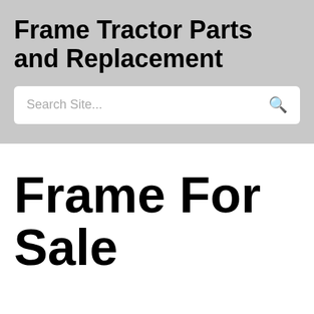Frame Tractor Parts and Replacement
Search Site...
Frame For Sale